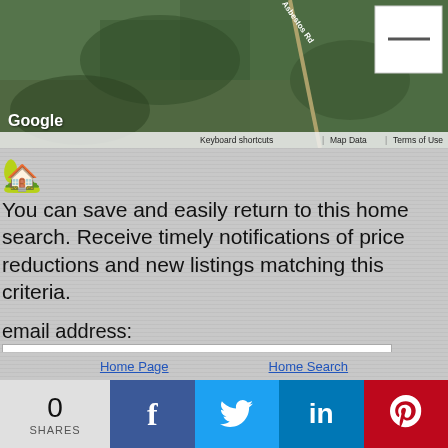[Figure (map): Google Maps satellite/aerial view showing green terrain with road labeled 'Asbestos Rd'. A minimize button is visible top-right. Bottom bar shows Keyboard shortcuts, Map Data, Terms of Use.]
[Figure (illustration): House emoji / icon (small house graphic)]
You can save and easily return to this home search. Receive timely notifications of price reductions and new listings matching this criteria.
email address:
Sign-Up/Login
[Figure (screenshot): reCAPTCHA widget with checkbox labeled 'I'm not a robot', reCAPTCHA logo, Privacy and Terms links]
Home Page
Home Search
0
SHARES